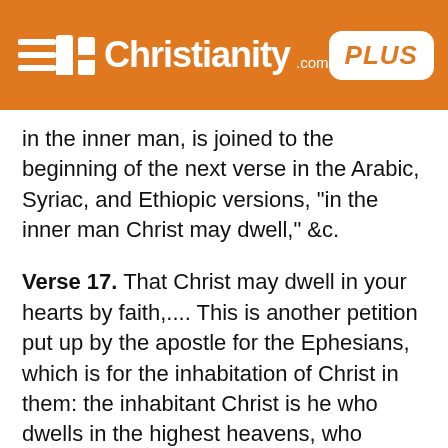Christianity.com PLUS
in the inner man, is joined to the beginning of the next verse in the Arabic, Syriac, and Ethiopic versions, "in the inner man Christ may dwell," &c.
Verse 17. That Christ may dwell in your hearts by faith,.... This is another petition put up by the apostle for the Ephesians, which is for the inhabitation of Christ in them: the inhabitant Christ is he who dwells in the highest heavens, who dwells in the Father, and the Father in him, in whom all fulness dwells, the fulness of the Godhead, and the fulness of grace; so that those in whose hearts he dwells cannot want any good thing, must be in the greatest safety, and enjoy the greatest comfort and pleasure; and this inhabitation of Christ prayed for is not to be